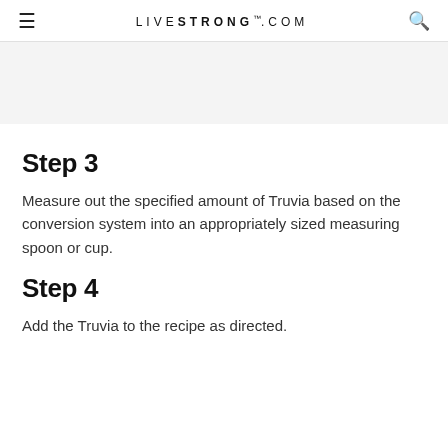LIVESTRONG.COM
[Figure (other): Gray advertisement banner area]
Step 3
Measure out the specified amount of Truvia based on the conversion system into an appropriately sized measuring spoon or cup.
Step 4
Add the Truvia to the recipe as directed.